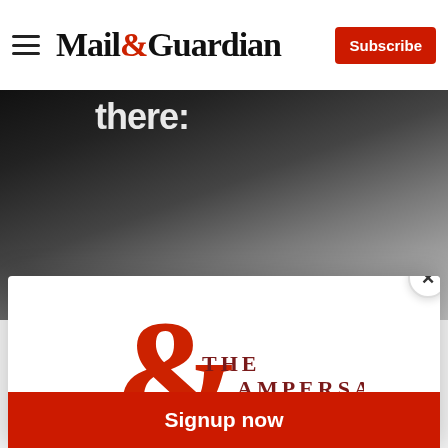Mail&Guardian | Subscribe
[Figure (photo): Black and white photograph of a woman wearing a crown/tiara, touching her hair with bangles on her wrist, with text 'there?' visible in the background]
[Figure (logo): The Ampersand logo — a large red ampersand symbol with THE AMPERSAND text in dark red/maroon letters]
Stay informed. Every weekday.
E-mail Address
Signup now